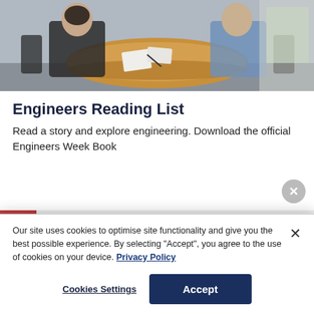[Figure (photo): Photo of people sitting around a round wooden table in an office setting, appearing to be in a meeting or consultation.]
Engineers Reading List
Read a story and explore engineering. Download the official Engineers Week Book
[Figure (screenshot): Chat widget showing a person's photo and text: Hi, is there anything I can]
Our site uses cookies to optimise site functionality and give you the best possible experience. By selecting “Accept”, you agree to the use of cookies on your device. Privacy Policy
Cookies Settings
Accept